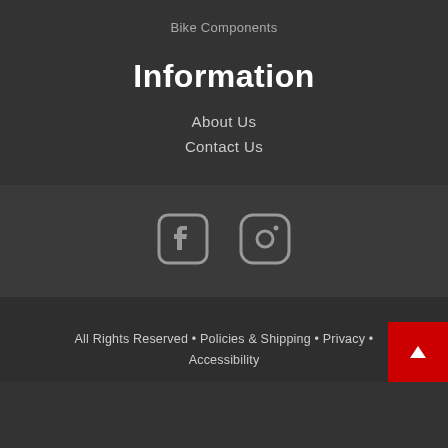Bike Components
Information
About Us
Contact Us
[Figure (logo): Facebook and Instagram social media icons]
All Rights Reserved • Policies & Shipping • Privacy • Accessibility